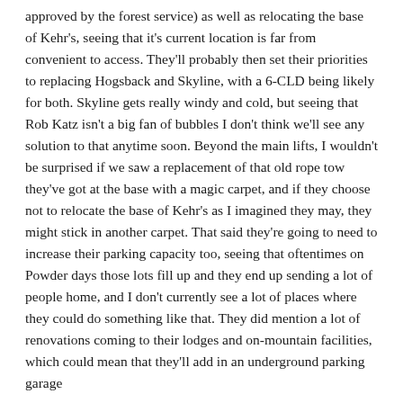approved by the forest service) as well as relocating the base of Kehr's, seeing that it's current location is far from convenient to access. They'll probably then set their priorities to replacing Hogsback and Skyline, with a 6-CLD being likely for both. Skyline gets really windy and cold, but seeing that Rob Katz isn't a big fan of bubbles I don't think we'll see any solution to that anytime soon. Beyond the main lifts, I wouldn't be surprised if we saw a replacement of that old rope tow they've got at the base with a magic carpet, and if they choose not to relocate the base of Kehr's as I imagined they may, they might stick in another carpet. That said they're going to need to increase their parking capacity too, seeing that oftentimes on Powder days those lots fill up and they end up sending a lot of people home, and I don't currently see a lot of places where they could do something like that. They did mention a lot of renovations coming to their lodges and on-mountain facilities, which could mean that they'll add in an underground parking garage